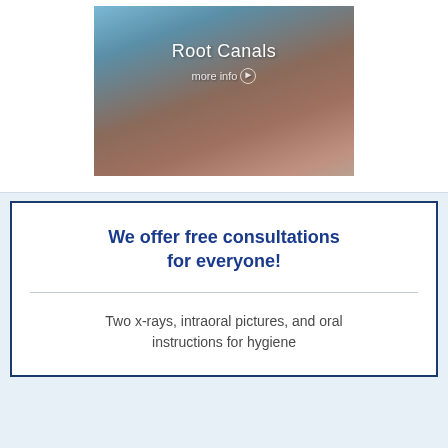[Figure (photo): Photo of a dental procedure showing a patient receiving root canal treatment with a dentist's gloved hands using dental instruments, overlaid with text 'Root Canals' and 'more info' with arrow button]
We offer free consultations for everyone!
Two x-rays, intraoral pictures, and oral instructions for hygiene